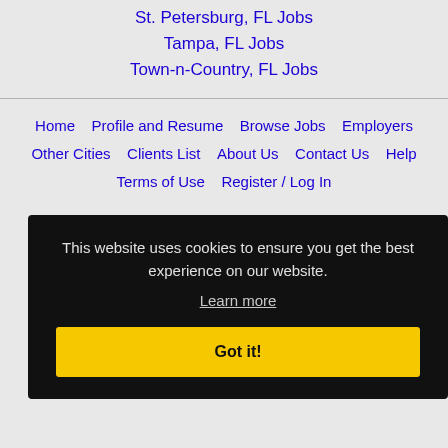St. Petersburg, FL Jobs
Tampa, FL Jobs
Town-n-Country, FL Jobs
Home
Profile and Resume
Browse Jobs
Employers
Other Cities
Clients List
About Us
Contact Us
Help
Terms of Use
Register / Log In
This website uses cookies to ensure you get the best experience on our website.
Learn more
Got it!